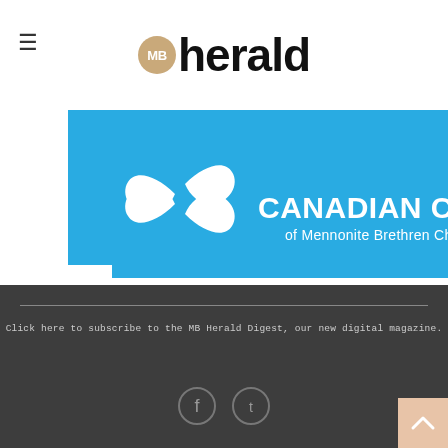MB herald
[Figure (logo): Canadian Conference of Mennonite Brethren Churches banner with blue background, white flower/leaf logo and white text]
Click here to subscribe to the MB Herald Digest, our new digital magazine.
[Figure (other): Social media icons: Facebook and Twitter circles, and a scroll-to-top button]